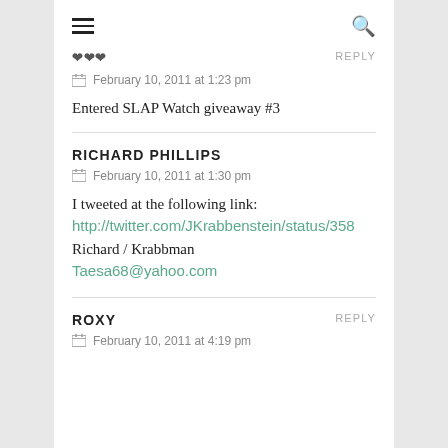≡  🔍
February 10, 2011 at 1:23 pm
Entered SLAP Watch giveaway #3
RICHARD PHILLIPS
February 10, 2011 at 1:30 pm
I tweeted at the following link:
http://twitter.com/JKrabbenstein/status/358
Richard / Krabbman
Taesa68@yahoo.com
ROXY
REPLY
February 10, 2011 at 4:19 pm